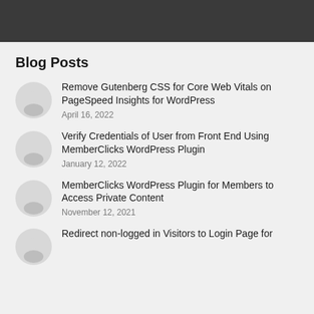Blog Posts
Remove Gutenberg CSS for Core Web Vitals on PageSpeed Insights for WordPress
April 16, 2022
Verify Credentials of User from Front End Using MemberClicks WordPress Plugin
January 12, 2022
MemberClicks WordPress Plugin for Members to Access Private Content
November 12, 2021
Redirect non-logged in Visitors to Login Page for ...